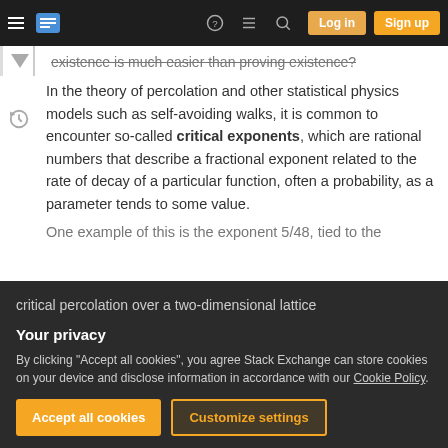Stack Exchange navigation bar with hamburger menu, logo, help, chat, search icons, Log in and Sign up buttons
existence is much easier than proving existence?
In the theory of percolation and other statistical physics models such as self-avoiding walks, it is common to encounter so-called critical exponents, which are rational numbers that describe a fractional exponent related to the rate of decay of a particular function, often a probability, as a parameter tends to some value.
One example of this is the exponent 5/48, tied to the
critical percolation over a two-dimensional lattice
Your privacy
By clicking "Accept all cookies", you agree Stack Exchange can store cookies on your device and disclose information in accordance with our Cookie Policy.
Accept all cookies   Customize settings